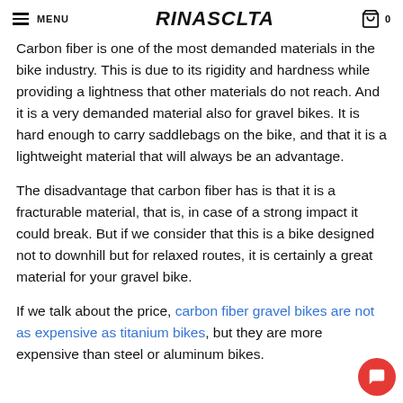MENU | RINASCLTA | 0
Carbon fiber is one of the most demanded materials in the bike industry. This is due to its rigidity and hardness while providing a lightness that other materials do not reach. And it is a very demanded material also for gravel bikes. It is hard enough to carry saddlebags on the bike, and that it is a lightweight material that will always be an advantage.
The disadvantage that carbon fiber has is that it is a fracturable material, that is, in case of a strong impact it could break. But if we consider that this is a bike designed not to downhill but for relaxed routes, it is certainly a great material for your gravel bike.
If we talk about the price, carbon fiber gravel bikes are not as expensive as titanium bikes, but they are more expensive than steel or aluminum bikes.